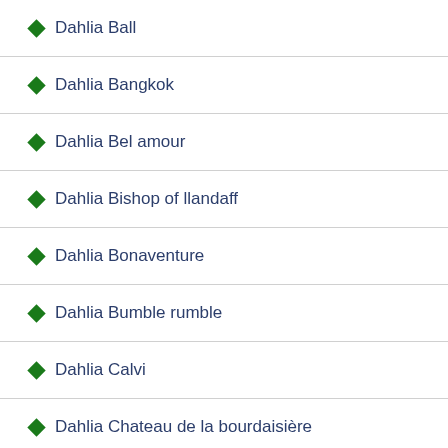Dahlia Ball
Dahlia Bangkok
Dahlia Bel amour
Dahlia Bishop of llandaff
Dahlia Bonaventure
Dahlia Bumble rumble
Dahlia Calvi
Dahlia Chateau de la bourdaisière
Dahlia Citron bleu
Dahlia Clown